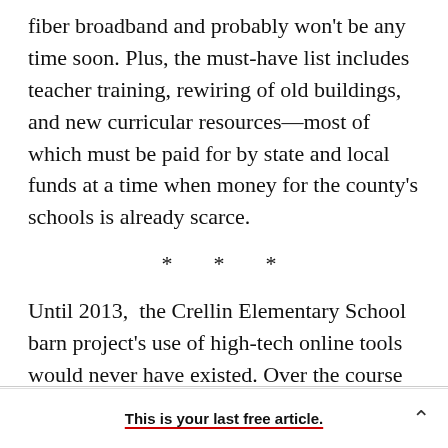fiber broadband and probably won't be any time soon. Plus, the must-have list includes teacher training, rewiring of old buildings, and new curricular resources—most of which must be paid for by state and local funds at a time when money for the county's schools is already scarce.
* * *
Until 2013,  the Crellin Elementary School barn project's use of high-tech online tools would never have existed. Over the course of the school year, 109 children gathered data on the animals and the
This is your last free article.